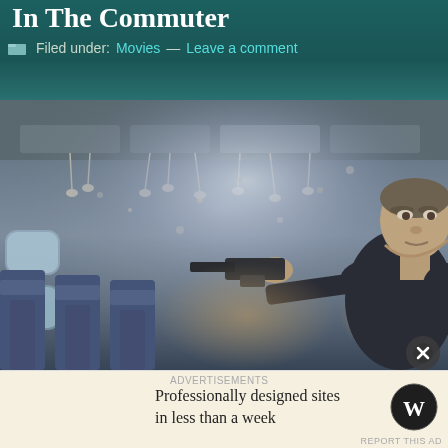In The Commuter
Filed under: Movies — Leave a comment
[Figure (photo): Movie still from 'The Commuter' showing a man (Liam Neeson) in a dark jacket pointing a gun inside an airplane cabin with dramatic, smoky lighting and blue/white seat backs visible in background.]
Professionally designed sites in less than a week
Advertisements